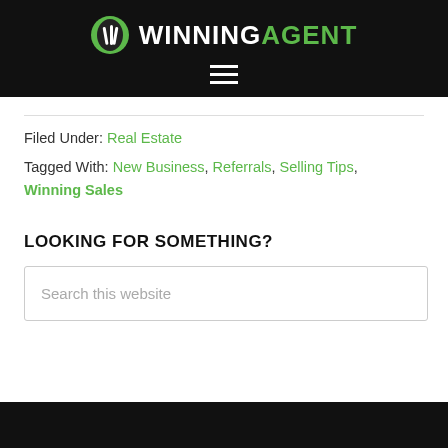WINNING AGENT
Filed Under: Real Estate
Tagged With: New Business, Referrals, Selling Tips, Winning Sales
LOOKING FOR SOMETHING?
Search this website